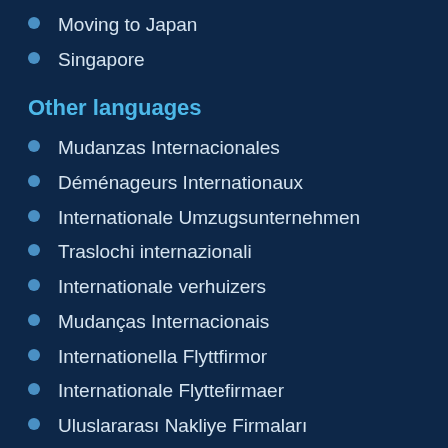Moving to Japan
Singapore
Other languages
Mudanzas Internacionales
Déménageurs Internationaux
Internationale Umzugsunternehmen
Traslochi internazionali
Internationale verhuizers
Mudanças Internacionais
Internationella Flyttfirmor
Internationale Flyttefirmaer
Uluslararası Nakliye Firmaları
About Shipping
Shipping Household Goods